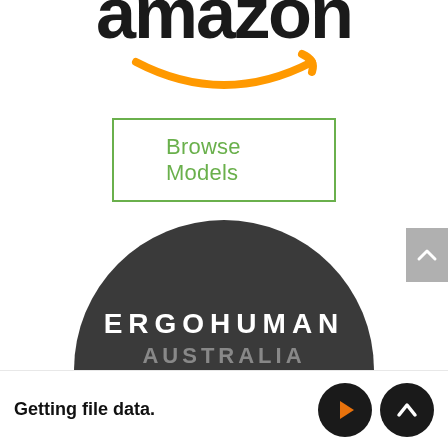[Figure (logo): Amazon logo — partial view showing orange smile/arrow on white background with dark text letters partially visible at top]
[Figure (other): Browse Models button with green border and green text on white background]
[Figure (logo): Ergohuman Australia logo — dark charcoal semicircle with white text ERGOHUMAN and partial text below]
[Figure (other): Gray scroll-up button on right edge of page]
Getting file data.
[Figure (other): Play button (dark circle with orange triangle) and up/back button (dark circle with white chevron)]